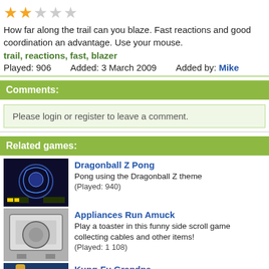[Figure (other): Star rating: 2 out of 5 stars (2 filled gold stars, 3 empty)]
How far along the trail can you blaze. Fast reactions and good coordination an advantage. Use your mouse.
trail, reactions, fast, blazer
Played: 906    Added: 3 March 2009    Added by: Mike
Comments:
Please login or register to leave a comment.
Related games:
[Figure (screenshot): Dragonball Z Pong game thumbnail - dark blue background with dragon figure]
Dragonball Z Pong
Pong using the Dragonball Z theme
(Played: 940)
[Figure (screenshot): Appliances Run Amuck game thumbnail - gray toaster character]
Appliances Run Amuck
Play a toaster in this funny side scroll game collecting cables and other items!
(Played: 1 108)
[Figure (screenshot): Kung-Fu Grandpa game thumbnail - old man on blue background]
Kung-Fu Grandpa
The graphics, sounds and game play come together in harmony to make this awes...
(Played: 1 032)